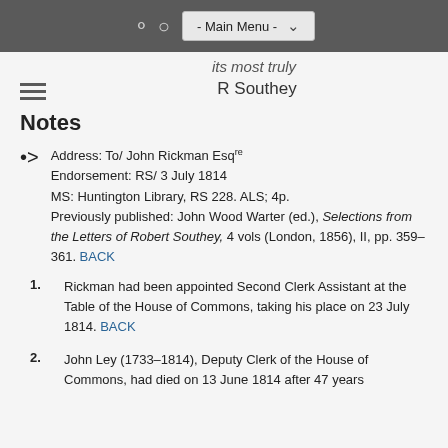- Main Menu -
its most truly
R Southey
Notes
Address: To/ John Rickman Esqre
Endorsement: RS/ 3 July 1814
MS: Huntington Library, RS 228. ALS; 4p.
Previously published: John Wood Warter (ed.), Selections from the Letters of Robert Southey, 4 vols (London, 1856), II, pp. 359–361. BACK
1. Rickman had been appointed Second Clerk Assistant at the Table of the House of Commons, taking his place on 23 July 1814. BACK
2. John Ley (1733–1814), Deputy Clerk of the House of Commons, had died on 13 June 1814 after 47 years